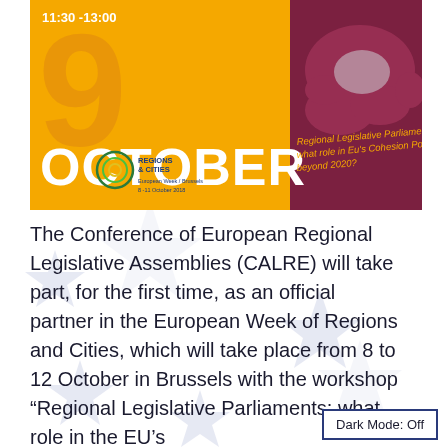[Figure (infographic): Event banner for European Week of Regions and Cities 2018. Shows '9 OCTOBER 11:30-13:00' on an orange/yellow background with a dark red/maroon map of Europe. Text reads 'Regional Legislative Parliaments: what role in Eu's Cohesion Policy beyond 2020?' with the Regions & Cities European Week Brussels 8-11 October 2018 logo.]
The Conference of European Regional Legislative Assemblies (CALRE) will take part, for the first time, as an official partner in the European Week of Regions and Cities, which will take place from 8 to 12 October in Brussels with the workshop “Regional Legislative Parliaments: what role in the EU’s